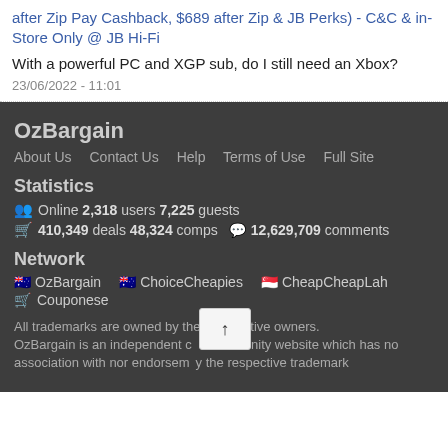after Zip Pay Cashback, $689 after Zip & JB Perks) - C&C & in-Store Only @ JB Hi-Fi
With a powerful PC and XGP sub, do I still need an Xbox?
23/06/2022 - 11:01
OzBargain
About Us   Contact Us   Help   Terms of Use   Full Site
Statistics
Online 2,318 users 7,225 guests
410,349 deals 48,324 comps    12,629,709 comments
Network
OzBargain   ChoiceCheapies   CheapCheapLah
Couponese
All trademarks are owned by their respective owners. OzBargain is an independent community website which has no association with nor endorsement by the respective trademark